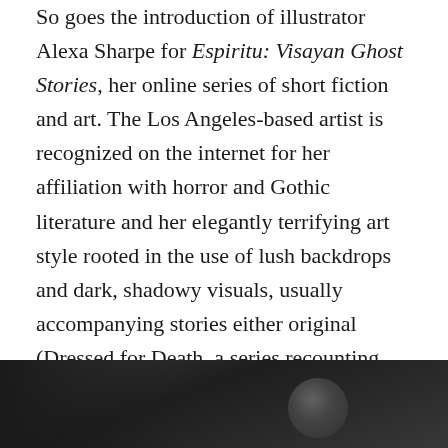So goes the introduction of illustrator Alexa Sharpe for Espiritu: Visayan Ghost Stories, her online series of short fiction and art. The Los Angeles-based artist is recognized on the internet for her affiliation with horror and Gothic literature and her elegantly terrifying art style rooted in the use of lush backdrops and dark, shadowy visuals, usually accompanying stories either original (Dressed for Death, a series recounting tales of murders and tragedies) or adapted (for her thesis, Alexa illustrated Angela Carter's The Bloody Chamber anthology). Growing up on Gothic classics such as The Strange Case of Dr. Jekyll and Mr. Hyde and The Scarlet Letter, Alexa also enjoyed Japanese work from Junji Ito and CLAMP, citing manga as her biggest pop culture influence.
[Figure (photo): Dark grayscale photograph, partially visible at the bottom of the page, showing dark shadowy artistic imagery consistent with Gothic/horror aesthetic.]